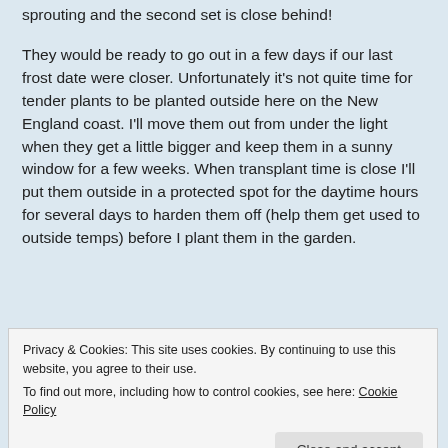sprouting and the second set is close behind!
They would be ready to go out in a few days if our last frost date were closer. Unfortunately it's not quite time for tender plants to be planted outside here on the New England coast. I'll move them out from under the light when they get a little bigger and keep them in a sunny window for a few weeks. When transplant time is close I'll put them outside in a protected spot for the daytime hours for several days to harden them off (help them get used to outside temps) before I plant them in the garden.
GET THE APP
Privacy & Cookies: This site uses cookies. By continuing to use this website, you agree to their use.
To find out more, including how to control cookies, see here: Cookie Policy
Close and accept